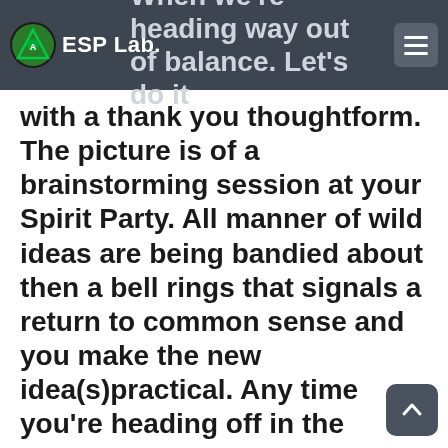ESP Lab.
with a thank you thoughtform. The picture is of a brainstorming session at your Spirit Party. All manner of wild ideas are being bandied about then a bell rings that signals a return to common sense and you make the new idea(s)practical. Any time you're heading off in the direction of the ridiculous, or getting too